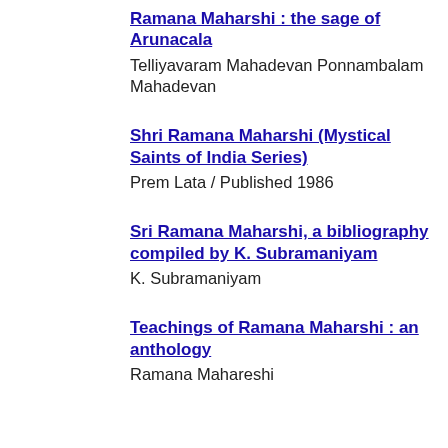Ramana Maharshi : the sage of Arunacala
Telliyavaram Mahadevan Ponnambalam Mahadevan
Shri Ramana Maharshi (Mystical Saints of India Series)
Prem Lata / Published 1986
Sri Ramana Maharshi, a bibliography compiled by K. Subramaniyam
K. Subramaniyam
Teachings of Ramana Maharshi : an anthology
Ramana Mahareshi